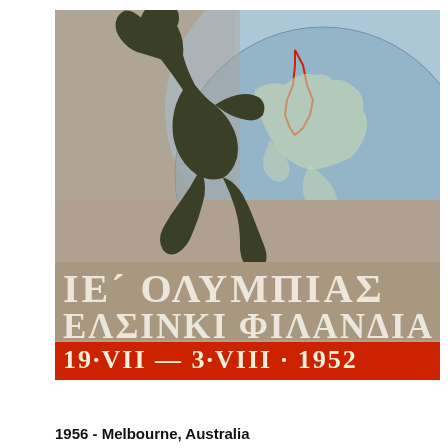[Figure (illustration): 1952 Helsinki Olympics poster showing a running athlete silhouette in dark olive/bronze tone against a globe background with light blue sky. Greek text reads 'ΙΕ ΟΛΥΜΠΙΑΣ' and 'ΕΛΣΙΝΚΙ ΦΙΛΑΝΔΙΑ'. Red banner at bottom reads '19·VII — 3·VIII · 1952'.]
1956 - Melbourne, Australia